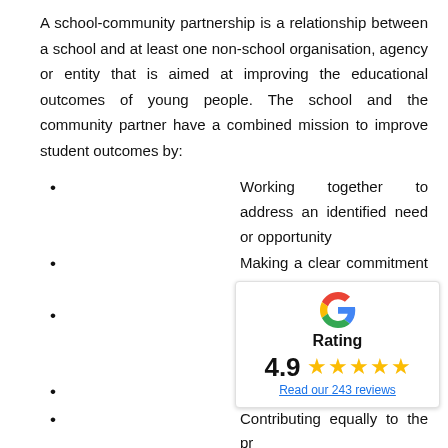A school-community partnership is a relationship between a school and at least one non-school organisation, agency or entity that is aimed at improving the educational outcomes of young people. The school and the community partner have a combined mission to improve student outcomes by:
Working together to address an identified need or opportunity
Making a clear commitment to the partnership
Having a strong and committed leader and leadership team
Sharing decision-making
Contributing equally to the pr
Having a structured and well
Communicating frequently ar
[Figure (other): Google Rating widget showing a 4.9 star rating with 5 stars and a link to read 243 reviews]
When schools and the community c... endless for everyone involved.